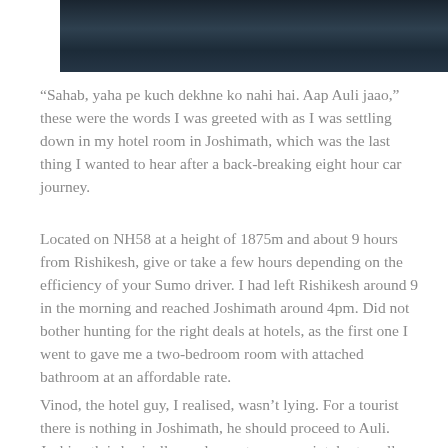[Figure (photo): Dark landscape photo, appears to show mountains or terrain with dark tones of blue-grey and green.]
“Sahab, yaha pe kuch dekhne ko nahi hai. Aap Auli jaao,” these were the words I was greeted with as I was settling down in my hotel room in Joshimath, which was the last thing I wanted to hear after a back-breaking eight hour car journey.
Located on NH58 at a height of 1875m and about 9 hours from Rishikesh, give or take a few hours depending on the efficiency of your Sumo driver. I had left Rishikesh around 9 in the morning and reached Joshimath around 4pm. Did not bother hunting for the right deals at hotels, as the first one I went to gave me a two-bedroom room with attached bathroom at an affordable rate.
Vinod, the hotel guy, I realised, wasn’t lying. For a tourist there is nothing in Joshimath, he should proceed to Auli. Joshimath is basically used as a stopover point, by travellers going to and returning